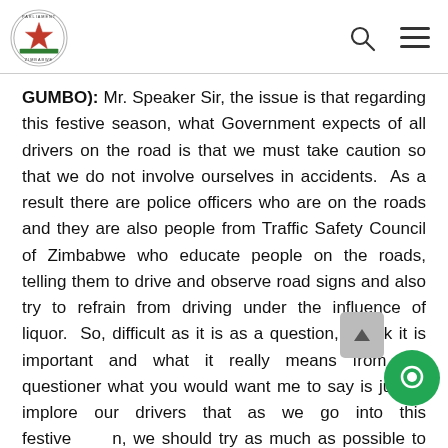Parliament of Zimbabwe — header with logo, search icon, and menu icon
GUMBO): Mr. Speaker Sir, the issue is that regarding this festive season, what Government expects of all drivers on the road is that we must take caution so that we do not involve ourselves in accidents.  As a result there are police officers who are on the roads and they are also people from Traffic Safety Council of Zimbabwe who educate people on the roads, telling them to drive and observe road signs and also try to refrain from driving under the influence of liquor.  So, difficult as it is as a question, I think it is important and what it really means from the questioner what you would want me to say is just to implore our drivers that as we go into this festive season, we should try as much as possible to make sure we take caution as we drive along the roads so that we avoid